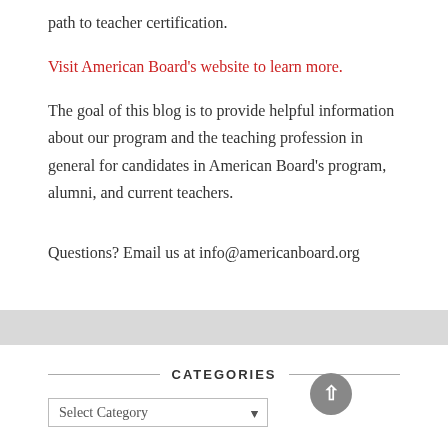path to teacher certification.
Visit American Board's website to learn more.
The goal of this blog is to provide helpful information about our program and the teaching profession in general for candidates in American Board's program, alumni, and current teachers.
Questions? Email us at info@americanboard.org
CATEGORIES